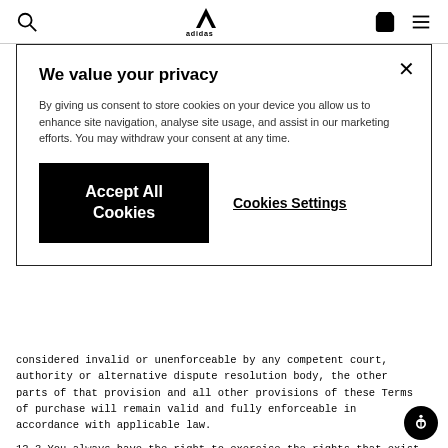[Figure (logo): Adidas logo and navigation bar with search, cart, and menu icons]
We value your privacy
By giving us consent to store cookies on your device you allow us to enhance site navigation, analyse site usage, and assist in our marketing efforts. You may withdraw your consent at any time.
Accept All Cookies
Cookies Settings
considered invalid or unenforceable by any competent court, authority or alternative dispute resolution body, the other parts of that provision and all other provisions of these Terms of purchase will remain valid and fully enforceable in accordance with applicable law.
12.3 You always have the right to exercise the rights that exist for consumers in the country where you have your usual place of residence. This means that we will comply with mandatory